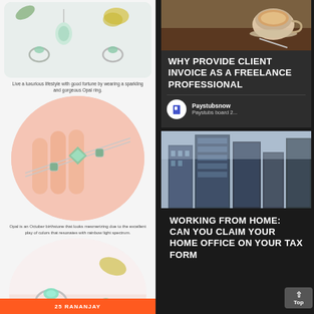[Figure (photo): Opal jewelry items including pendants and rings on marble surface with yellow flowers]
Live a luxurious lifestyle with good fortune by wearing a sparkling and gorgeous Opal ring.
[Figure (photo): Close-up of opal bracelet and ring held in hand, circular crop]
Opal is an October birthstone that looks mesmerizing due to the excellent play of colors that resonates with rainbow light spectrum.
[Figure (photo): Multiple opal rings on pink surface with leaves, circular crop]
Couples must wear this gem for a blissful married life. Look fashionable and allure by wearing appealing Opal Jewelry.
[Figure (photo): Coffee cup on dark wooden table]
WHY PROVIDE CLIENT INVOICE AS A FREELANCE PROFESSIONAL
Paystubsnow
Paystubs board 2...
[Figure (photo): Looking up at tall glass skyscraper buildings against sky]
WORKING FROM HOME: CAN YOU CLAIM YOUR HOME OFFICE ON YOUR TAX FORM